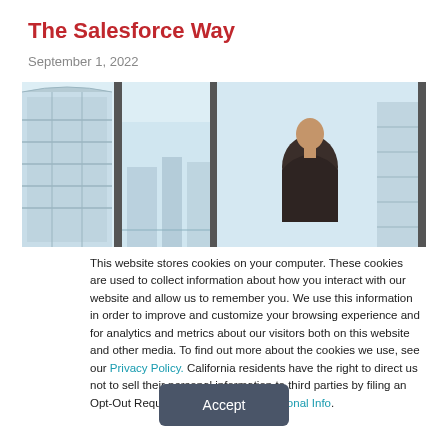The Salesforce Way
September 1, 2022
[Figure (photo): Man in suit viewed from behind looking out large floor-to-ceiling windows at a city skyline with glass skyscrapers]
This website stores cookies on your computer. These cookies are used to collect information about how you interact with our website and allow us to remember you. We use this information in order to improve and customize your browsing experience and for analytics and metrics about our visitors both on this website and other media. To find out more about the cookies we use, see our Privacy Policy. California residents have the right to direct us not to sell their personal information to third parties by filing an Opt-Out Request: Do Not Sell My Personal Info.
Accept